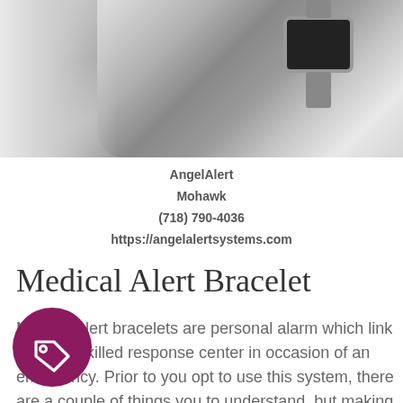[Figure (photo): Black and white photo of a person wearing a smartwatch/medical alert bracelet on their wrist]
AngelAlert
Mohawk
(718) 790-4036
https://angelalertsystems.com
Medical Alert Bracelet
Medical alert bracelets are personal alarm which link you to a skilled response center in occasion of an emergency. Prior to you opt to use this system, there are a couple of things you to understand, but making the most of the
[Figure (illustration): Purple circle with white price tag / label icon]